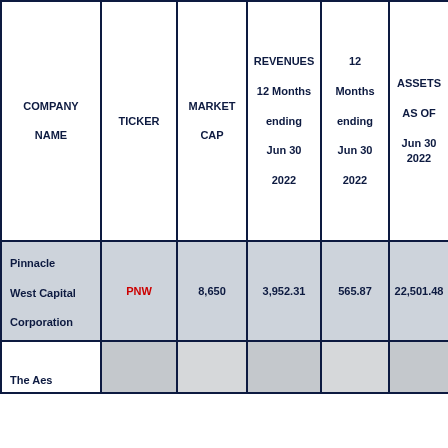| COMPANY NAME | TICKER | MARKET CAP | REVENUES 12 Months ending Jun 30 2022 | 12 Months ending Jun 30 2022 | ASSETS AS OF Jun 30 2022 |
| --- | --- | --- | --- | --- | --- |
| Pinnacle West Capital Corporation | PNW | 8,650 | 3,952.31 | 565.87 | 22,501.48 |
| The Aes |  |  |  |  |  |